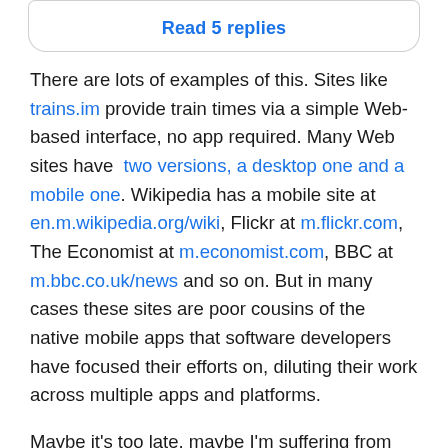[Figure (other): Read 5 replies button inside a rounded rectangle border]
There are lots of examples of this. Sites like trains.im provide train times via a simple Web-based interface, no app required. Many Web sites have two versions, a desktop one and a mobile one. Wikipedia has a mobile site at en.m.wikipedia.org/wiki, Flickr at m.flickr.com, The Economist at m.economist.com, BBC at m.bbc.co.uk/news and so on. But in many cases these sites are poor cousins of the native mobile apps that software developers have focused their efforts on, diluting their work across multiple apps and platforms.
Maybe it's too late, maybe I'm suffering from the “suspicious of change” syndrome described by Douglas Adams like this: